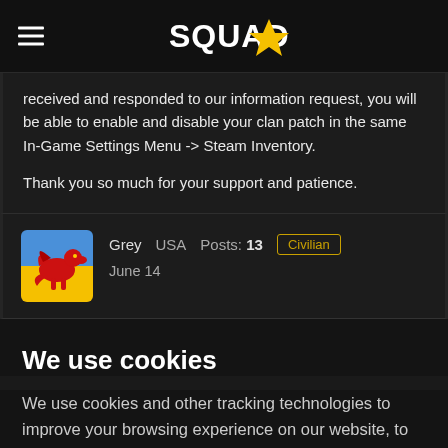SQUAD (logo)
received and responded to our information request, you will be able to enable and disable your clan patch in the same In-Game Settings Menu -> Steam Inventory.

Thank you so much for your support and patience.
Grey   USA   Posts: 13   Civilian
June 14
We use cookies
We use cookies and other tracking technologies to improve your browsing experience on our website, to show you personalized content and targeted ads, to analyze our website traffic, and to